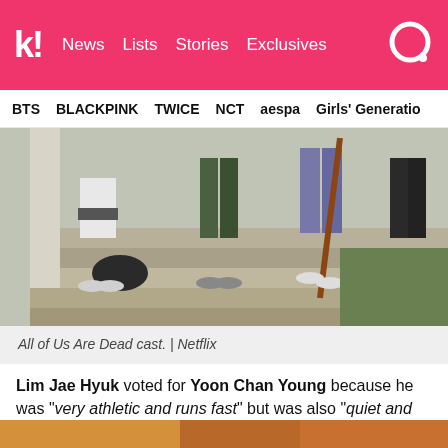k! News  Lists  Stories  Exclusives
BTS  BLACKPINK  TWICE  NCT  aespa  Girls' Generation
[Figure (photo): Lower bodies of All of Us Are Dead cast members walking down stone steps, carrying various items including a wooden stick. They are wearing casual clothes and some have knee guards.]
All of Us Are Dead cast. | Netflix
Lim Jae Hyuk voted for Yoon Chan Young because he was "very athletic and runs fast" but was also "quiet and calm." Yoon Chan Young was so level-headed that Lim Jae Hyuk said, "I don't think zombies will notice even if he talks."
[Figure (photo): Partial bottom strip showing another photo beginning to appear at the bottom of the page.]